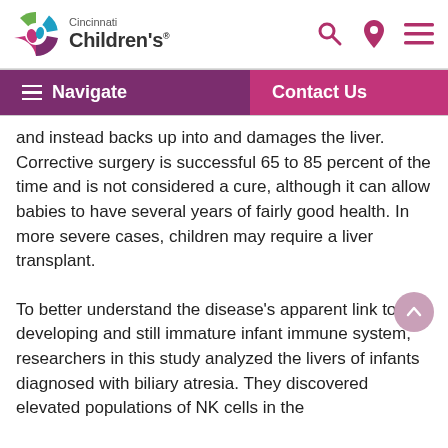Cincinnati Children's
Navigate | Contact Us
and instead backs up into and damages the liver. Corrective surgery is successful 65 to 85 percent of the time and is not considered a cure, although it can allow babies to have several years of fairly good health. In more severe cases, children may require a liver transplant.
To better understand the disease's apparent link to the developing and still immature infant immune system, researchers in this study analyzed the livers of infants diagnosed with biliary atresia. They discovered elevated populations of NK cells in the